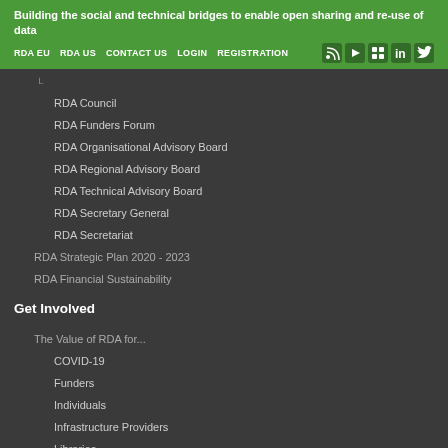Building the social and technical bridges to enable open sharing and re-use of data
RDA EU
RDA US
CONTACT US
LOGIN
REGISTRATION
RDA Council
RDA Funders Forum
RDA Organisational Advisory Board
RDA Regional Advisory Board
RDA Technical Advisory Board
RDA Secretary General
RDA Secretariat
RDA Strategic Plan 2020 – 2023
RDA Financial Sustainability
Get Involved
The Value of RDA for...
COVID-19
Funders
Individuals
Infrastructure Providers
Libraries
Organisations performing Research
Regions
Student/Early Career Programs